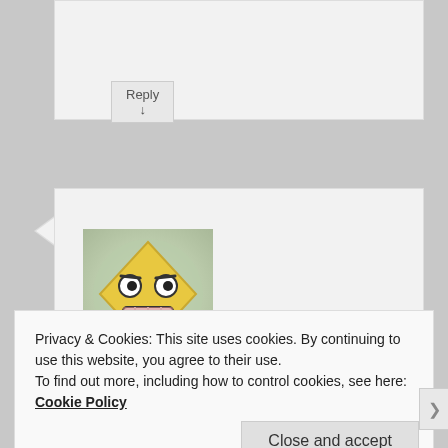Reply ↓
[Figure (illustration): Avatar image: cartoon face on a yellow diamond/rhombus shape with white background, green shadow background]
paulj on January 7, 2007 at 7:50 pm said:
Privacy & Cookies: This site uses cookies. By continuing to use this website, you agree to their use.
To find out more, including how to control cookies, see here: Cookie Policy
Close and accept